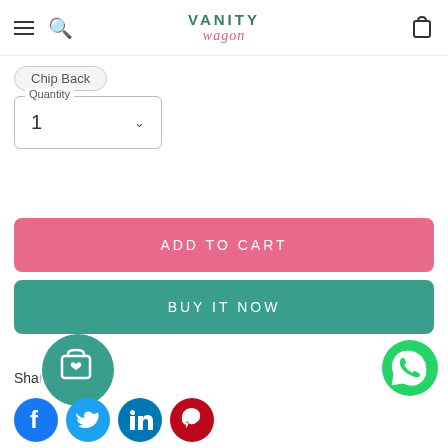Vanity Wagon — navigation header with menu, search, logo, and cart
Chip Back
Quantity 1
ADD TO CART
BUY IT NOW
Share
[Figure (screenshot): Social share icons: Facebook (blue circle), Twitter (light blue circle), LinkedIn (blue circle), Pinterest (red circle)]
[Figure (illustration): Teal circular wishlist/shopping bag with heart icon floating button]
[Figure (illustration): Green circular WhatsApp icon floating button]